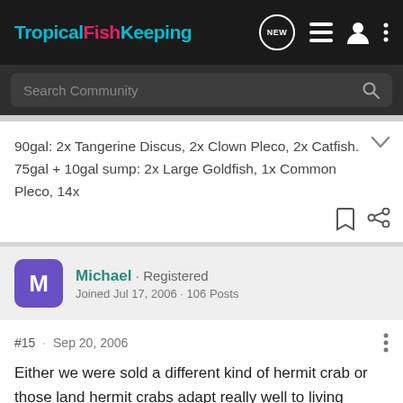TropicalFishKeeping — navigation bar with NEW, list, user, and more icons
Search Community
90gal: 2x Tangerine Discus, 2x Clown Pleco, 2x Catfish. 75gal + 10gal sump: 2x Large Goldfish, 1x Common Pleco, 14x
Michael · Registered
Joined Jul 17, 2006 · 106 Posts
#15 · Sep 20, 2006
Either we were sold a different kind of hermit crab or those land hermit crabs adapt really well to living exclusively underwater 😉